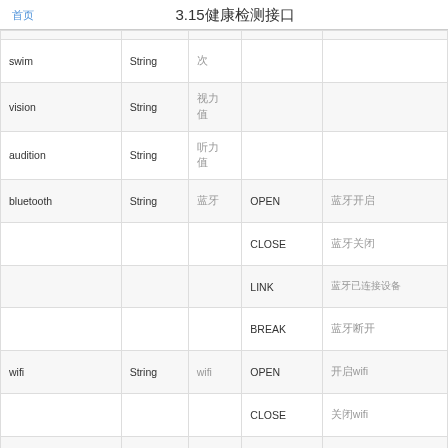首页  3.15健康检测接口
| 字段名 | 类型 | 单位 | 枚举值 | 说明 |
| --- | --- | --- | --- | --- |
| swim | String | 次 |  |  |
| vision | String | 视力
值 |  |  |
| audition | String | 听力
值 |  |  |
| bluetooth | String | 蓝牙 | OPEN | 蓝牙开启 |
|  |  |  | CLOSE | 蓝牙关闭 |
|  |  |  | LINK | 蓝牙已连接设备 |
|  |  |  | BREAK | 蓝牙断开 |
| wifi | String | wifi | OPEN | 开启wifi |
|  |  |  | CLOSE | 关闭wifi |
|  |  |  | LINK | 已连接wifi名称 |